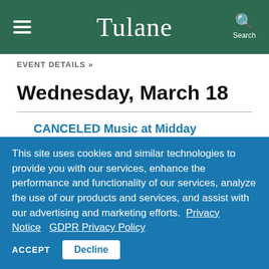Tulane
EVENT DETAILS »
Wednesday, March 18
CANCELED Music at Midday
12:00 pm
This site uses cookies and similar technologies to provide you with our services, enhance the performance and functionality of our services, analyze the use of our products and services, and assist with our advertising and marketing efforts. Privacy Notice GDPR Privacy Policy
ACCEPT Decline